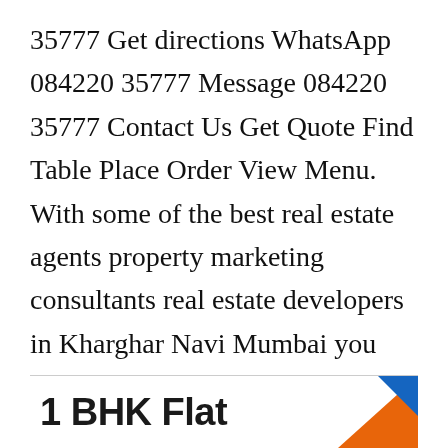35777 Get directions WhatsApp 084220 35777 Message 084220 35777 Contact Us Get Quote Find Table Place Order View Menu. With some of the best real estate agents property marketing consultants real estate developers in Kharghar Navi Mumbai you will surely get some of the best possible deals for your residential or commercial properties. Kavya Real Estate is a leading realty firm based in Maharashtra.
[Figure (photo): Bottom partial image showing '1 BHK Flat' text in bold black with an orange and blue triangular graphic element on the right side]